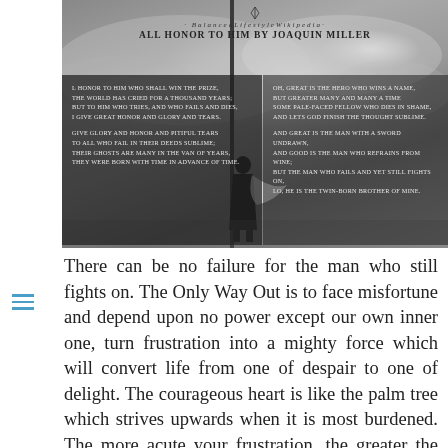[Figure (photo): Black and white photograph of a person standing on a wet surface facing crashing waves, with a vertical pole/structure. Overlaid with poem text from 'All Honor to Him' by Joaquin Miller. Header shows 'BalancedLifestyleWikipedia' and poem title.]
There can be no failure for the man who still fights on. The Only Way Out is to face misfortune and depend upon no power except our own inner one, turn frustration into a mighty force which will convert life from one of despair to one of delight. The courageous heart is like the palm tree which strives upwards when it is most burdened. The more acute your frustration, the greater the energy needed to meet it and greater the